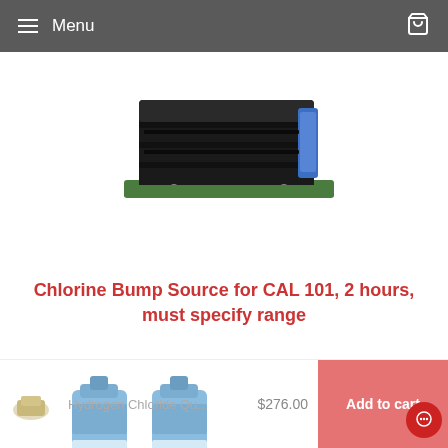Menu
[Figure (photo): Black electronic device/sensor module on a green PCB board with a blue component on the side, photographed from above on a white background.]
Chlorine Bump Source for CAL 101, 2 hours, must specify range
$0.00
Out of stock
[Figure (photo): Small tan/beige component thumbnail on the left. Two blue cylindrical calibration gas source cartridges visible in the related products bar at the bottom.]
Hydrogen Chloride Qu...
$276.00
Add to cart